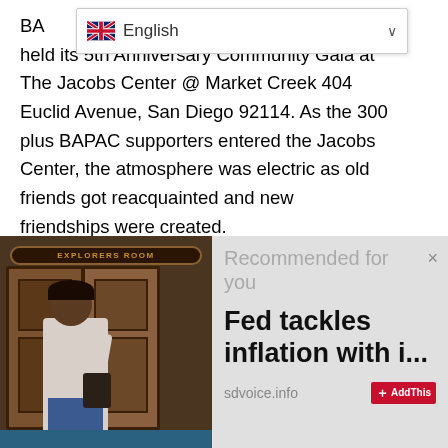BA…itical Association of California) held its 5th Anniversary Community Gala at The Jacobs Center @ Market Creek 404 Euclid Avenue, San Diego 92114. As the 300 plus BAPAC supporters entered the Jacobs Center, the atmosphere was electric as old friends got reacquainted and new friendships were created.
“If you see a good fight, get in it” was the theme for the evening’s event, coined from the phrase from 1954 when an old Black Civil Rights Baptist minister, named Vernon Johns was asked by a young Baptist minister “Sir how can I be of
[Figure (photo): Woman in white top and blue pants standing in front of wooden doors with an Explorers Room sign above]
Recommended for you
Fed tackles inflation with i...
sdvoice.info